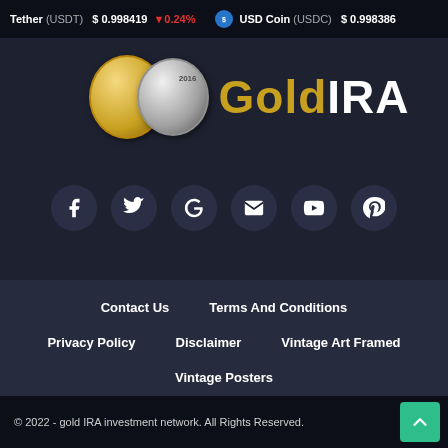Tether (USDT) $0.998419 ▼0.24% USD Coin (USDC) $0.998386
[Figure (logo): GoldIRA logo with gold and silver coins on the left and 'GoldIRA' text on the right]
[Figure (infographic): Social media icon buttons: Facebook, Twitter, Google, Email, YouTube, Pinterest]
Contact Us
Terms And Conditions
Privacy Policy
Disclaimer
Vintage Art Framed
Vintage Posters
© 2022 - gold IRA investment network. All Rights Reserved.